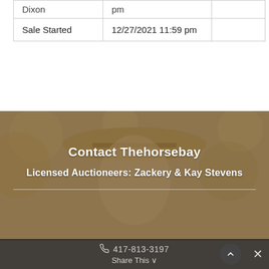| Dixon | pm |  |
| Sale Started | 12/27/2021 11:59 pm |  |
[Figure (photo): Woman wearing a wide-brimmed cowboy hat, smiling, with warm bokeh background. Semi-transparent brown overlay. Contains 'Contact Thehorsebay' heading and 'Licensed Auctioneers: Zackery & Kay Stevens' subheading in white text.]
Contact Thehorsebay
Licensed Auctioneers: Zackery & Kay Stevens
417-813-3197 Share This